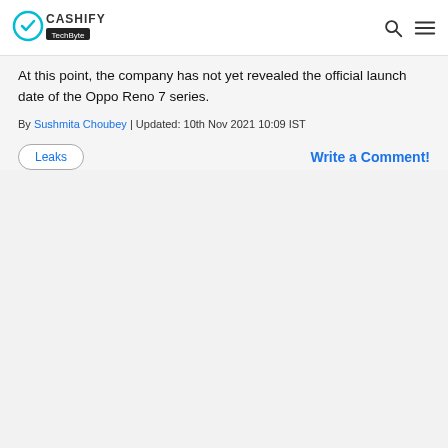Cashify TechByte
At this point, the company has not yet revealed the official launch date of the Oppo Reno 7 series.
By Sushmita Choubey | Updated: 10th Nov 2021 10:09 IST
Leaks
Write a Comment!